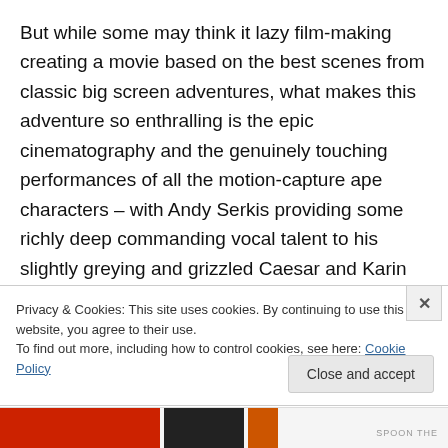But while some may think it lazy film-making creating a movie based on the best scenes from classic big screen adventures, what makes this adventure so enthralling is the epic cinematography and the genuinely touching performances of all the motion-capture ape characters – with Andy Serkis providing some richly deep commanding vocal talent to his slightly greying and grizzled Caesar and Karin Konoval returning as my favourite – the marvellous Maurice. Then there's the solid screenplay which brings brings lots of light and shadow and complexity to what
Privacy & Cookies: This site uses cookies. By continuing to use this website, you agree to their use.
To find out more, including how to control cookies, see here: Cookie Policy
Close and accept